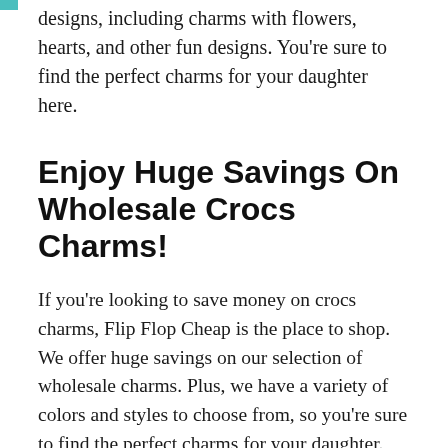designs, including charms with flowers, hearts, and other fun designs. You're sure to find the perfect charms for your daughter here.
Enjoy Huge Savings On Wholesale Crocs Charms!
If you're looking to save money on crocs charms, Flip Flop Cheap is the place to shop. We offer huge savings on our selection of wholesale charms. Plus, we have a variety of colors and styles to choose from, so you're sure to find the perfect charms for your daughter.
Shop Our Selection Of